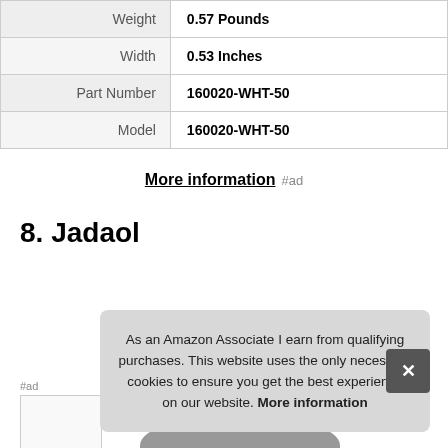| Weight | 0.57 Pounds |
| Width | 0.53 Inches |
| Part Number | 160020-WHT-50 |
| Model | 160020-WHT-50 |
More information #ad
8. Jadaol
As an Amazon Associate I earn from qualifying purchases. This website uses the only necessary cookies to ensure you get the best experience on our website. More information